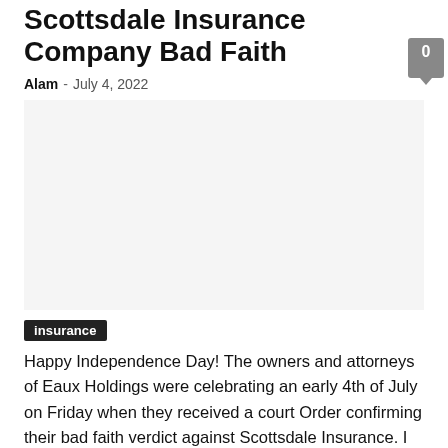Scottsdale Insurance Company Bad Faith
Alam  -  July 4, 2022
[Figure (photo): Large image placeholder area related to Scottsdale Insurance Company Bad Faith article]
insurance
Happy Independence Day! The owners and attorneys of Eaux Holdings were celebrating an early 4th of July on Friday when they received a court Order confirming their bad faith verdict against Scottsdale Insurance. I previously blogged about this case in Hurricane Laura Bad Faith Verdict Against Scottsdale Insurance. Scottsdale is a non-admitted surplus lines